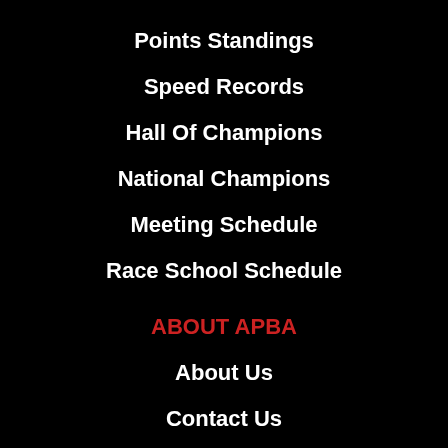Points Standings
Speed Records
Hall Of Champions
National Champions
Meeting Schedule
Race School Schedule
ABOUT APBA
About Us
Contact Us
Staff And Administration